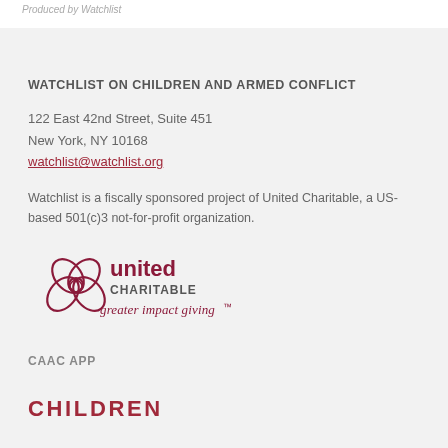Produced by Watchlist
WATCHLIST ON CHILDREN AND ARMED CONFLICT
122 East 42nd Street, Suite 451
New York, NY 10168
watchlist@watchlist.org
Watchlist is a fiscally sponsored project of United Charitable, a US-based 501(c)3 not-for-profit organization.
[Figure (logo): United Charitable logo with flower/leaf icon and text 'united CHARITABLE greater impact giving']
CAAC APP
CHILDREN